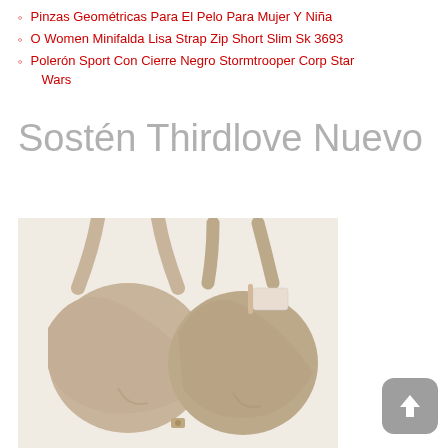Pinzas Geométricas Para El Pelo Para Mujer Y Niña
O Women Minifalda Lisa Strap Zip Short Slim Sk 3693
Polerón Sport Con Cierre Negro Stormtrooper Corp Star Wars
Sostén Thirdlove Nuevo
[Figure (photo): Photo of a beige/nude ThirdLove bra shown from the back, displaying two cups side by side against a light background with a product tag visible.]